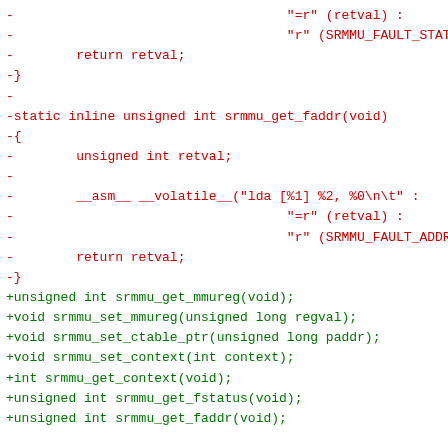diff --git code showing removed static inline functions for srmmu_get_fstatus and srmmu_get_faddr, replaced with extern declarations, plus context lines for guaranteed SRMMU flush comment and hunk header